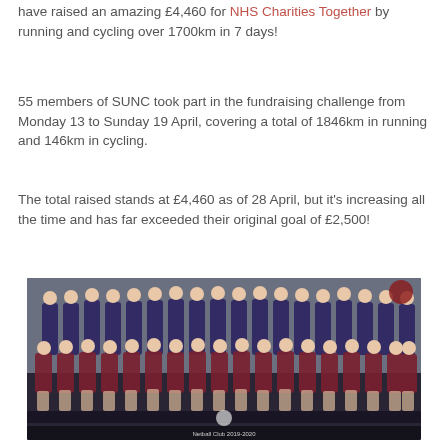have raised an amazing £4,460 for NHS Charities Together by running and cycling over 1700km in 7 days!
55 members of SUNC took part in the fundraising challenge from Monday 13 to Sunday 19 April, covering a total of 1846km in running and 146km in cycling.
The total raised stands at £4,460 as of 28 April, but it's increasing all the time and has far exceeded their original goal of £2,500!
[Figure (photo): Team photo of SUNC Netball Club 2019-2020, showing approximately 55 members in maroon and navy uniforms posed in rows for a formal club photograph.]